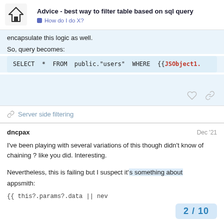Advice - best way to filter table based on sql query | How do I do X?
encapsulate this logic as well.
So, query becomes:
SELECT  *  FROM  public."users"  WHERE  {{JSObject1.
Server side filtering
dncpax  Dec '21
I've been playing with several variations of this though didn't know of chaining ? like you did. Interesting.
Nevertheless, this is failing but I suspect it's something about appsmith:
{{ this?.params?.data || nev
2 / 10